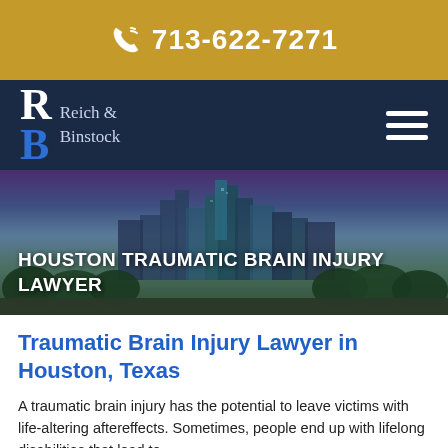713-622-7271
[Figure (logo): Reich & Binstock law firm logo with R and B letters on dark navy navigation bar with hamburger menu]
[Figure (photo): Houston city skyline at dusk/twilight with skyscrapers and trees in foreground]
HOUSTON TRAUMATIC BRAIN INJURY LAWYER
Traumatic Brain Injury Lawyer in Houston, Texas
A traumatic brain injury has the potential to leave victims with life-altering aftereffects. Sometimes, people end up with lifelong disabilities that lead to